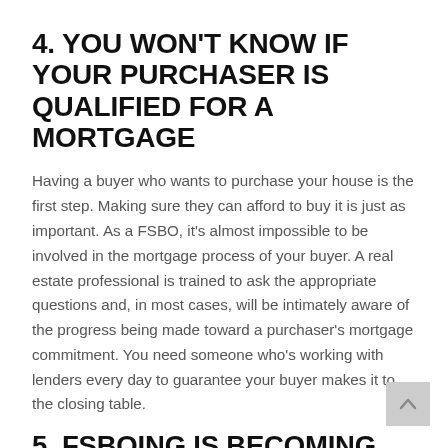4. YOU WON'T KNOW IF YOUR PURCHASER IS QUALIFIED FOR A MORTGAGE
Having a buyer who wants to purchase your house is the first step. Making sure they can afford to buy it is just as important. As a FSBO, it's almost impossible to be involved in the mortgage process of your buyer. A real estate professional is trained to ask the appropriate questions and, in most cases, will be intimately aware of the progress being made toward a purchaser's mortgage commitment. You need someone who's working with lenders every day to guarantee your buyer makes it to the closing table.
5. FSBOING IS BECOMING MORE DIFFICULT FROM A LEGAL STANDPOINT